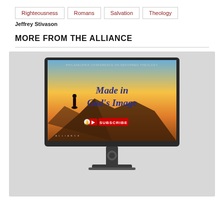Righteousness | Romans | Salvation | Theology
Jeffrey Stivason
MORE FROM THE ALLIANCE
[Figure (screenshot): A computer monitor displaying a YouTube-style thumbnail for 'Made in God's Image' - Philadelphia Conference on Reformed Theology, with a SUBSCRIBE button and bell icon visible on screen. The monitor is shown on a light grey background.]